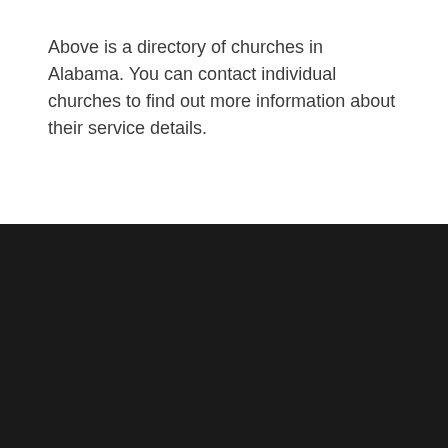Above is a directory of churches in Alabama. You can contact individual churches to find out more information about their service details.
Home | The Wonder Book of Bible Stories | Bible Stories and Religious Classics | Church Directory | Resources | About | Sitemap
© Copyright by eBibleStories.com. All rights reserved.